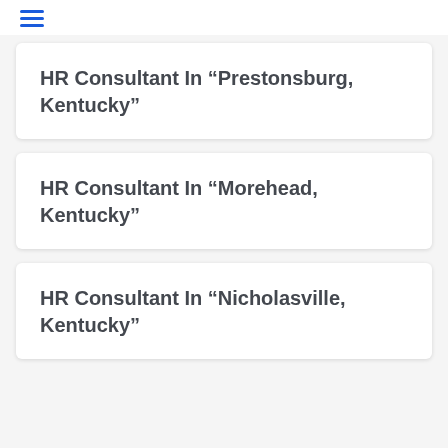≡
HR Consultant In “Prestonsburg, Kentucky”
HR Consultant In “Morehead, Kentucky”
HR Consultant In “Nicholasville, Kentucky”